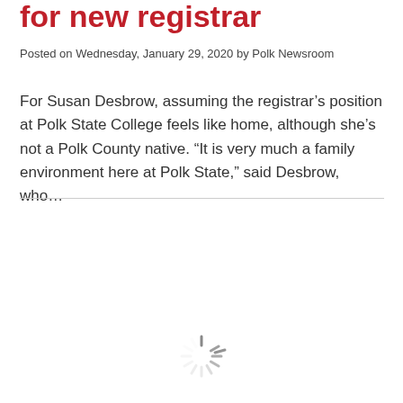for new registrar
Posted on Wednesday, January 29, 2020 by Polk Newsroom
For Susan Desbrow, assuming the registrar’s position at Polk State College feels like home, although she’s not a Polk County native. “It is very much a family environment here at Polk State,” said Desbrow, who…
[Figure (other): Loading spinner icon (animated circular loader graphic)]